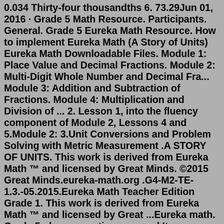0.034 Thirty-four thousandths 6. 73.29Jun 01, 2016 · Grade 5 Math Resource. Participants. General. Grade 5 Eureka Math Resource. How to implement Eureka Math (A Story of Units) Eureka Math Downloadable Files. Module 1: Place Value and Decimal Fractions. Module 2: Multi-Digit Whole Number and Decimal Fra... Module 3: Addition and Subtraction of Fractions. Module 4: Multiplication and Division of ... 2. Lesson 1, into the fluency component of Module 2, Lessons 4 and 5.Module 2: 3.Unit Conversions and Problem Solving with Metric Measurement .A STORY OF UNITS. This work is derived from Eureka Math ™ and licensed by Great Minds. ©2015 Great Minds.eureka-math.org .G4-M2-TE-1.3.-05.2015.Eureka Math Teacher Edition Grade 1. This work is derived from Eureka Math ™ and licensed by Great ...Eureka math. Grade 5 : learn, practice, succeed Item Preview ... Pdf_module_version 0.0.18 Ppi 360 Rcs_key 24143 Republisher_date 20220419205511 Republisher_operator Eureka Math TEKS Edition